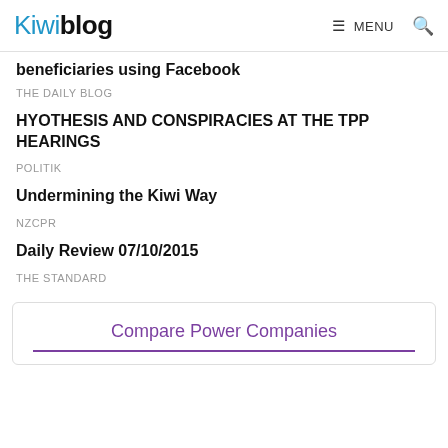Kiwiblog  ☰ MENU  🔍
beneficiaries using Facebook
THE DAILY BLOG
HYOTHESIS AND CONSPIRACIES AT THE TPP HEARINGS
POLITIK
Undermining the Kiwi Way
NZCPR
Daily Review 07/10/2015
THE STANDARD
Compare Power Companies